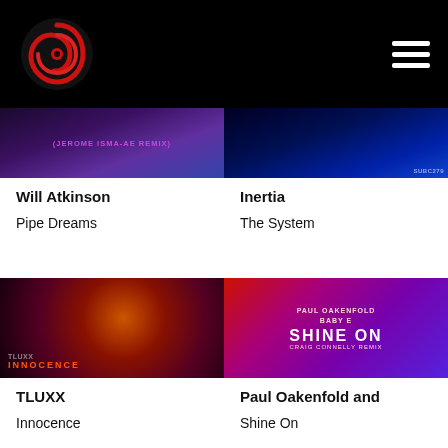[Figure (screenshot): Website navigation bar with a red spiral/vortex logo on dark background on the left and hamburger menu icon on the right]
[Figure (photo): Album art for Will Atkinson - Pipe Dreams, Jerome Isma-Ae Remix, purple/blue tones with text overlay]
[Figure (photo): Album art for Inertia - The System, blue dark abstract background with SUBC279 label]
Will Atkinson
Pipe Dreams
Inertia
The System
[Figure (photo): Album art for TLUXX - Innocence, dark background with fiery orange/red abstract figure]
[Figure (photo): Album art for Paul Oakenfold and Baby E - Shine On (Craig Connelly Remix), red/purple tones with artist portraits]
TLUXX
Innocence
Paul Oakenfold and
Shine On